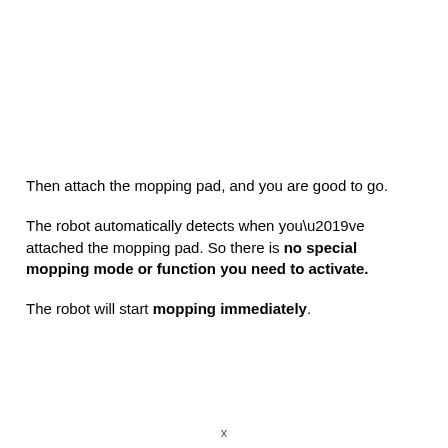Then attach the mopping pad, and you are good to go.
The robot automatically detects when you’ve attached the mopping pad. So there is no special mopping mode or function you need to activate.
The robot will start mopping immediately.
x